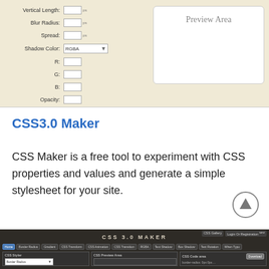[Figure (screenshot): CSS box shadow tool interface showing form fields: Vertical Length, Blur Radius, Spread, Shadow Color (RGBA dropdown), R, G, B, Opacity inputs, and a Preview Area box on the right. Background is beige/cream.]
CSS3.0 Maker
CSS Maker is a free tool to experiment with CSS properties and values and generate a simple stylesheet for your site.
[Figure (screenshot): Screenshot of CSS 3.0 Maker website with dark wood-texture background, navigation tabs (Home, Border Radius, Gradient, CSS Transform, CSS Animation, CSS Transition, RGBA, Text Shadow, Box Shadow, Text Rotation, When Typo), and three panel sections: CSS Styler with Border Radius dropdown, CSS Preview Area, and CSS Code area with a Download button.]